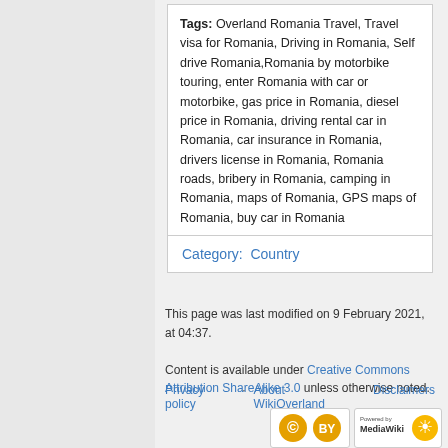Tags: Overland Romania Travel, Travel visa for Romania, Driving in Romania, Self drive Romania,Romania by motorbike touring, enter Romania with car or motorbike, gas price in Romania, diesel price in Romania, driving rental car in Romania, car insurance in Romania, drivers license in Romania, Romania roads, bribery in Romania, camping in Romania, maps of Romania, GPS maps of Romania, buy car in Romania
Category:  Country
This page was last modified on 9 February 2021, at 04:37.
Content is available under Creative Commons Attribution ShareAlike 3.0 unless otherwise noted.
Privacy policy   About WikiOverland   Disclaimers
[Figure (logo): Creative Commons license badge and MediaWiki powered badge]